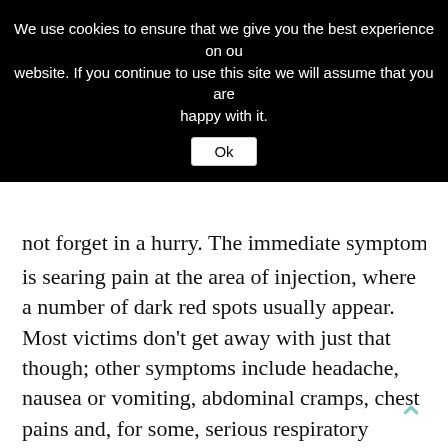[Figure (screenshot): Cookie consent banner overlay with black background, white text reading 'We use cookies to ensure that we give you the best experience on our website. If you continue to use this site we will assume that you are happy with it.' and an 'Ok' button.]
not forget in a hurry. The immediate symptom is searing pain at the area of injection, where a number of dark red spots usually appear. Most victims don't get away with just that though; other symptoms include headache, nausea or vomiting, abdominal cramps, chest pains and, for some, serious respiratory distress or shock like symptoms. Although medical attention is needed in such cases there is no antidote to the toxin, the symptoms usually abate with time; the pain usually lasts for at least 12 hours.
A bit of mimicry